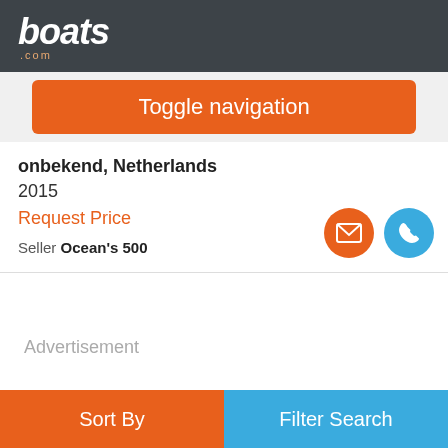[Figure (screenshot): boats.com logo in white italic bold text on dark gray header bar with '.com' in small orange text below]
Toggle navigation
onbekend, Netherlands
2015
Request Price
Seller Ocean's 500
Advertisement
Sort By
Filter Search